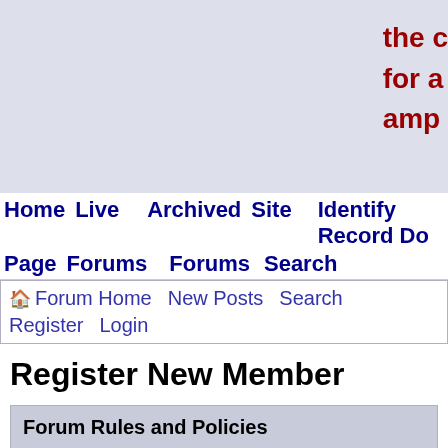the c
for a
amp
Home Page  Live Forums  Archived Forums  Site Search  Identify Record Do
Forum Home  New Posts  Search  Register  Login
Register New Member
Forum Rules and Policies
If you agree with the following rules then click on th the bottom of the page if not click on the 'Cancel' bu